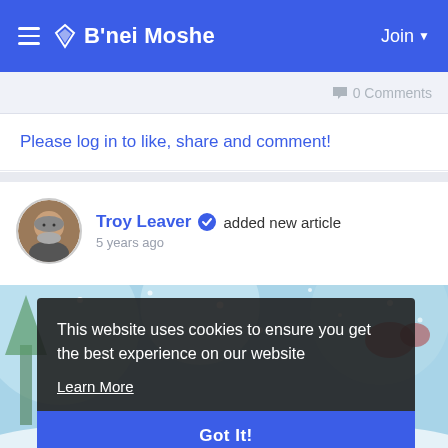B'nei Moshe  Join
0 Comments
Please log in to like, share and comment!
Troy Leaver added new article
5 years ago
[Figure (photo): Winter snow scene background photo — blurred snowy trees and falling snow in blue and white tones]
This website uses cookies to ensure you get the best experience on our website
Learn More
Got It!